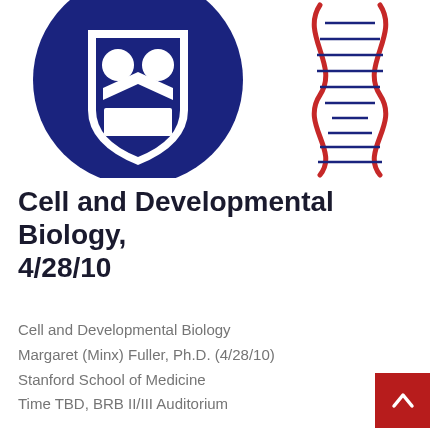[Figure (logo): University shield logo (dark blue with white crests) on the left and a red/blue DNA double helix illustration on the right, against a white background]
Cell and Developmental Biology, 4/28/10
Cell and Developmental Biology
Margaret (Minx) Fuller, Ph.D. (4/28/10)
Stanford School of Medicine
Time TBD, BRB II/III Auditorium